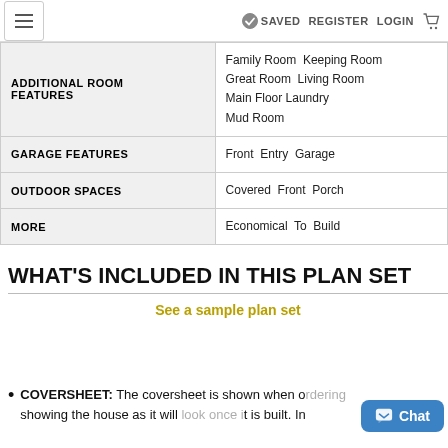≡   ✓ SAVED   REGISTER   LOGIN   🛒
| Feature | Value |
| --- | --- |
| ADDITIONAL ROOM FEATURES | Family Room Keeping Room Great Room Living Room Main Floor Laundry Mud Room |
| GARAGE FEATURES | Front Entry Garage |
| OUTDOOR SPACES | Covered Front Porch |
| MORE | Economical To Build |
WHAT'S INCLUDED IN THIS PLAN SET
See a sample plan set
COVERSHEET: The coversheet is shown when ordering showing the house as it will look once it is built. In